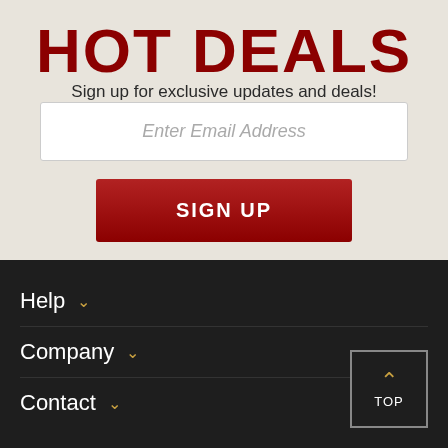HOT DEALS
Sign up for exclusive updates and deals!
Enter Email Address
SIGN UP
Help
Company
Contact
TOP